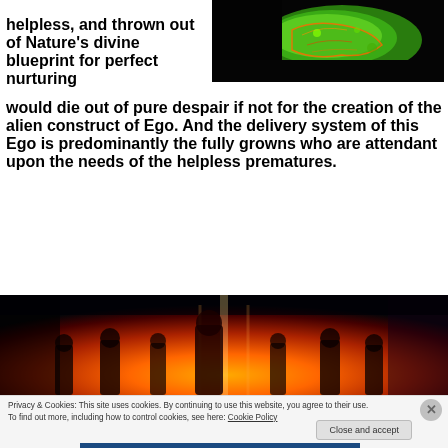helpless, and thrown out of Nature's divine blueprint for perfect nurturing would die out of pure despair if not for the creation of the alien construct of Ego. And the delivery system of this Ego is predominantly the fully growns who are attendant upon the needs of the helpless prematures.
[Figure (illustration): Colorful psychedelic green and orange creature/brain-like image on dark background]
[Figure (illustration): Dark scene with silhouettes of figures against orange/red fiery background]
Privacy & Cookies: This site uses cookies. By continuing to use this website, you agree to their use. To find out more, including how to control cookies, see here: Cookie Policy